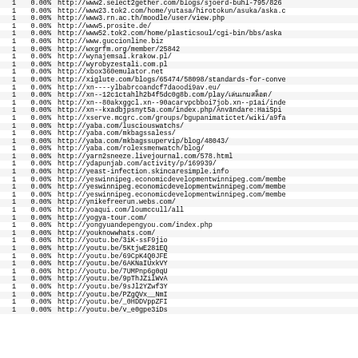| hits | percent | url |
| --- | --- | --- |
| 1 | 0.00% | http://www2.select2gether.com/blogs/sjoerd-buhl-795/826 |
| 1 | 0.00% | http://www23.tok2.com/home/yutasa/hirotokun/asuka/aska.c |
| 1 | 0.00% | http://www3.rn.ac.th/moodle/user/view.php |
| 1 | 0.00% | http://www5.prosite.de/ |
| 1 | 0.00% | http://www52.tok2.com/home/plasticsoul/cgi-bin/bbs/aska |
| 1 | 0.00% | http://www.guccionline.biz |
| 1 | 0.00% | http://wxgrfm.org/member/25842 |
| 1 | 0.00% | http://wynajemsal.krakow.pl/ |
| 1 | 0.00% | http://wyrobyzestali.com.pl |
| 1 | 0.00% | http://xbox360emulator.net |
| 1 | 0.00% | http://xiglute.com/blogs/65474/58098/standards-for-conve |
| 1 | 0.00% | http://xn----ylbabrcoandcf7daoodi9av.eu/ |
| 1 | 0.00% | http://xn--12c1ctahlh2b4f5dc0g8b.com/play/เล่นเกมสล็อต/ |
| 1 | 0.00% | http://xn--80akxggcl.xn--90acarvpcbboi7job.xn--p1ai/inde |
| 1 | 0.00% | http://xn--kxadbjpsnyt5a.com/index.php/Användare:HaiSpi |
| 1 | 0.00% | http://xserve.mcgrc.com/groups/bgupanimatictet/wiki/a9fa |
| 1 | 0.00% | http://yaba.com/lusciouswatchs/ |
| 1 | 0.00% | http://yaba.com/mkbagssaless/ |
| 1 | 0.00% | http://yaba.com/mkbagssupervip/blog/48043/ |
| 1 | 0.00% | http://yaba.com/rolexsmenwatch/blog/ |
| 1 | 0.00% | http://yarn2sneeze.livejournal.com/578.html |
| 1 | 0.00% | http://ydapunjab.com/activity/p/169939/ |
| 1 | 0.00% | http://yeast-infection.skincaresimple.info |
| 1 | 0.00% | http://yeswinnipeg.economicdevelopmentwinnipeg.com/membe |
| 1 | 0.00% | http://yeswinnipeg.economicdevelopmentwinnipeg.com/membe |
| 1 | 0.00% | http://yeswinnipeg.economicdevelopmentwinnipeg.com/membe |
| 1 | 0.00% | http://ynikefreerun.webs.com/ |
| 1 | 0.00% | http://yoaqui.com/loumccull/all |
| 1 | 0.00% | http://yogya-tour.com/ |
| 1 | 0.00% | http://yongyuandepengyou.com/index.php |
| 1 | 0.00% | http://youknowwhats.com/ |
| 1 | 0.00% | http://youtu.be/3iK-ssF9jio |
| 1 | 0.00% | http://youtu.be/5KtjwE281EQ |
| 1 | 0.00% | http://youtu.be/69CpK4Q0JFE |
| 1 | 0.00% | http://youtu.be/6AKNaIUxkVY |
| 1 | 0.00% | http://youtu.be/7UMPnp6g0qU |
| 1 | 0.00% | http://youtu.be/9pThJZilWvA |
| 1 | 0.00% | http://youtu.be/9sJl2YZwf3Y |
| 1 | 0.00% | http://youtu.be/PZgQVx__NmI |
| 1 | 0.00% | http://youtu.be/_0HDDVppZFI |
| 1 | 0.00% | http://youtu.be/v_e0gpe3iDs |